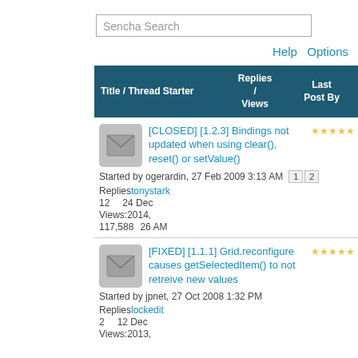Sencha Search
Help   Options
| Title / Thread Starter | Replies / Views | Last Post By |
| --- | --- | --- |
| [CLOSED] [1.2.3] Bindings not updated when using clear(), reset() or setValue()
Started by ogerardin, 27 Feb 2009 3:13 AM [1][2]
Replies: 12   tonystark   24 Dec
Views: 2014,
117,588   26 AM |  |  |
| [FIXED] [1.1.1] Grid.reconfigure causes getSelectedItem() to not retreive new values
Started by jpnet, 27 Oct 2008 1:32 PM
Replies: 2   lockedit   12 Dec
Views: 2013, |  |  |